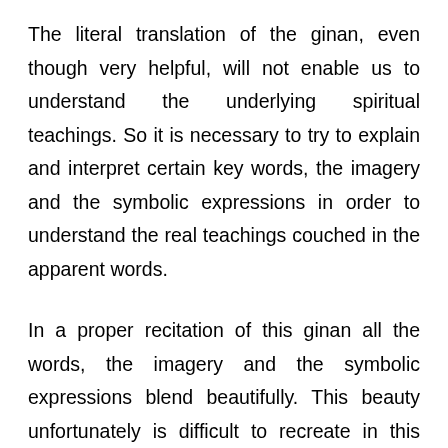The literal translation of the ginan, even though very helpful, will not enable us to understand the underlying spiritual teachings. So it is necessary to try to explain and interpret certain key words, the imagery and the symbolic expressions in order to understand the real teachings couched in the apparent words.
In a proper recitation of this ginan all the words, the imagery and the symbolic expressions blend beautifully. This beauty unfortunately is difficult to recreate in this prosaic explanation. But one hopes that this analytic examination of the ginan will heighten our appreciation during its recitation and